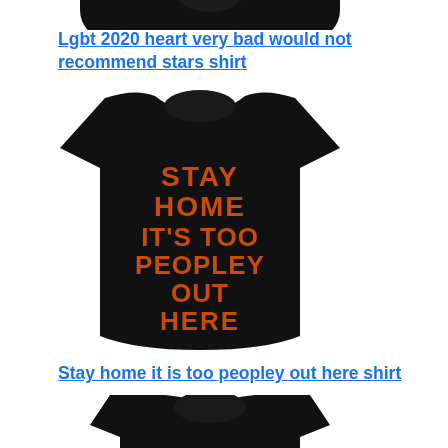Lgbt 2020 heart very bad would not recommend stars shirt
[Figure (photo): Black t-shirt with orange dripping text reading STAY HOME ITS TOO PEOPLEY OUT HERE]
Stay home it is too peopley out here shirt
[Figure (photo): Partial view of another black t-shirt from the top/collar area]